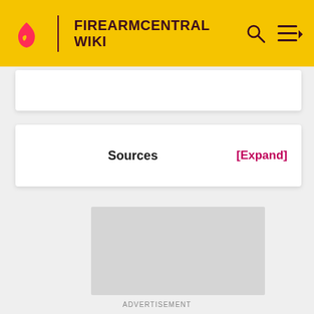FIREARMCENTRAL WIKI
[Figure (screenshot): Partial white content box, cut off at top]
Sources [Expand]
[Figure (other): Gray advertisement placeholder rectangle]
ADVERTISEMENT